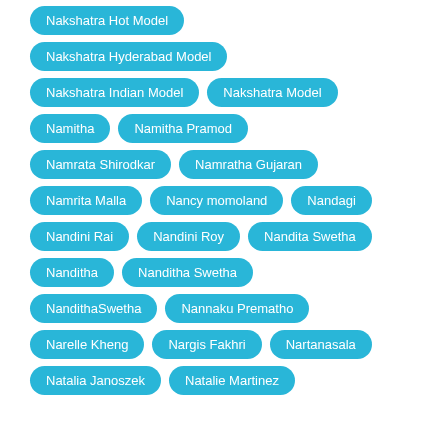Nakshatra Hot Model
Nakshatra Hyderabad Model
Nakshatra Indian Model
Nakshatra Model
Namitha
Namitha Pramod
Namrata Shirodkar
Namratha Gujaran
Namrita Malla
Nancy momoland
Nandagi
Nandini Rai
Nandini Roy
Nandita Swetha
Nanditha
Nanditha Swetha
NandithaSwetha
Nannaku Prematho
Narelle Kheng
Nargis Fakhri
Nartanasala
Natalia Janoszek
Natalie Martinez